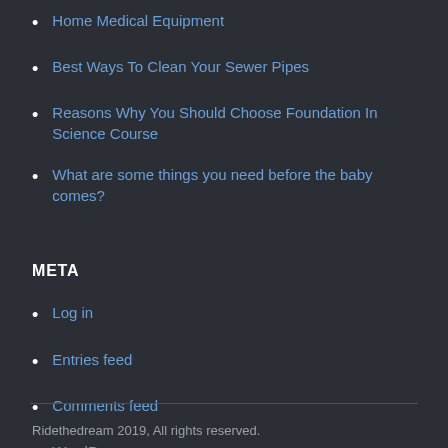Home Medical Equipment
Best Ways To Clean Your Sewer Pipes
Reasons Why You Should Choose Foundation In Science Course
What are some things you need before the baby comes?
META
Log in
Entries feed
Comments feed
WordPress.org
Ridethedream 2019, All rights reserved.